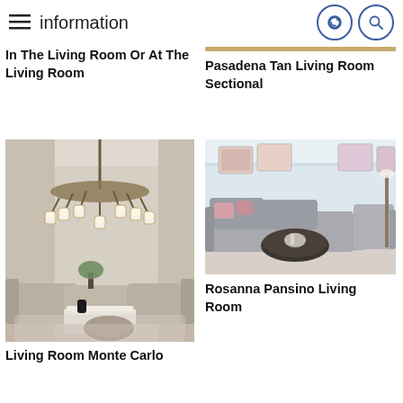information
In The Living Room Or At The Living Room
Pasadena Tan Living Room Sectional
[Figure (photo): Elegant luxury living room with large ornate chandelier, silver/cream sofa set, tufted ottoman, and decorative wallpaper]
Living Room Monte Carlo
[Figure (photo): Modern light grey sectional sofa with pink accent pillows, round dark coffee table, light blue walls]
Rosanna Pansino Living Room